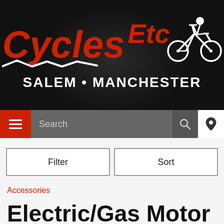[Figure (logo): Cycles Etc logo with red italic text, white wave underline, mountain bike graphic, on black background. Subtitle: SALEM • MANCHESTER in white bold text.]
[Figure (screenshot): Website navigation bar with red hamburger menu button on left, Search text field in gray, magnifying glass icon, and location pin icon on right.]
Filter
Sort
Accessories
Electric/Gas Motor Kits